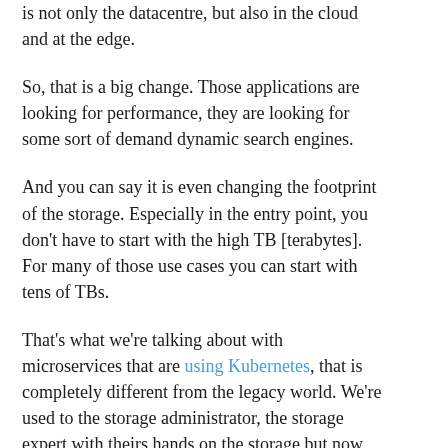is not only the datacentre, but also in the cloud and at the edge.
So, that is a big change. Those applications are looking for performance, they are looking for some sort of demand dynamic search engines.
And you can say it is even changing the footprint of the storage. Especially in the entry point, you don't have to start with the high TB [terabytes]. For many of those use cases you can start with tens of TBs.
That's what we're talking about with microservices that are using Kubernetes, that is completely different from the legacy world. We're used to the storage administrator, the storage expert with theirs hands on the storage but now with the microservices, the DevOps, the DevOps team, the user,